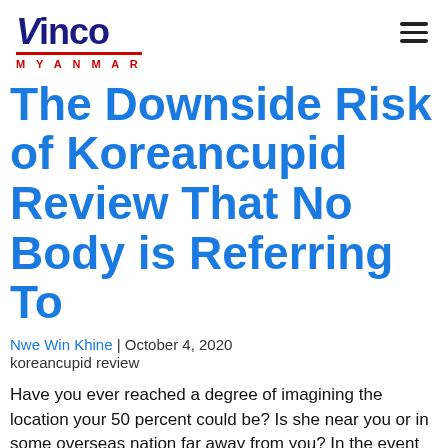Vinco MYANMAR
The Downside Risk of Koreancupid Review That No Body is Referring To
Nwe Win Khine | October 4, 2020
koreancupid review
Have you ever reached a degree of imagining the location your 50 percent could be? Is she near you or in some overseas nation far away from you? In the event you consider in proper love, manner, and beauty and if you don't mind marrying a